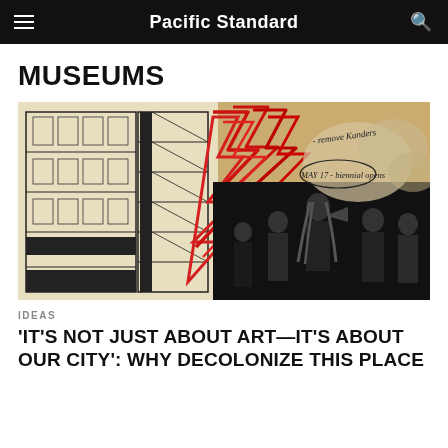Pacific Standard
MUSEUMS
[Figure (illustration): Graphic illustration combining architectural building cross-section drawings on the left with bold red lightning bolt/zigzag shapes in the center, and a black-and-white photo of protesters on the right. Handwritten text reads '- remove Kanders' and 'MAY 17 - biennial opens' with a circled date. Background is a warm tan/beige halftone texture.]
IDEAS
'IT'S NOT JUST ABOUT ART—IT'S ABOUT OUR CITY': WHY DECOLONIZE THIS PLACE